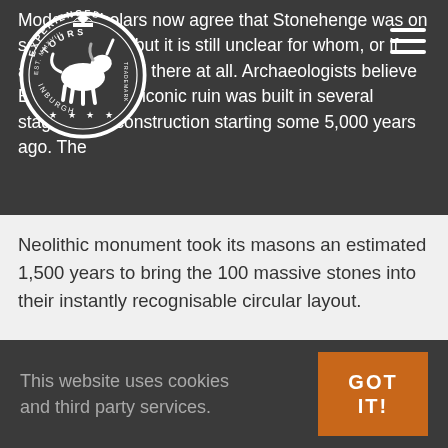[Figure (logo): Experienced Tours Edinburgh circular logo with unicorn and crown]
Modern scholars now agree that Stonehenge was on sacred ground but it is still unclear for whom, or if anyone is buried there at all. Archaeologists believe England's most iconic ruin was built in several stages, with construction starting some 5,000 years ago. The Neolithic monument took its masons an estimated 1,500 years to bring the 100 massive stones into their instantly recognisable circular layout.
Its construction still baffles experts. The
This website uses cookies and third party services.